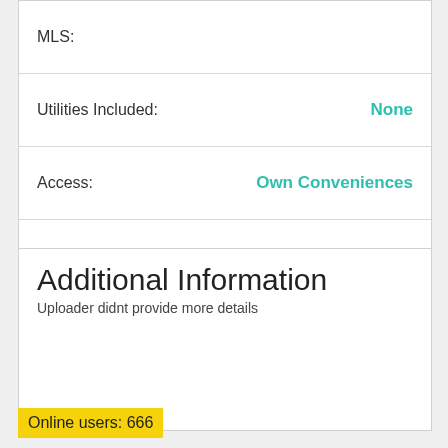| Field | Value |
| --- | --- |
| MLS: |  |
| Utilities Included: | None |
| Access: | Own Conveniences |
| Term: | Long Term |
| Real Estate Type: | Residential |
Additional Information
Uploader didnt provide more details
Online users: 666